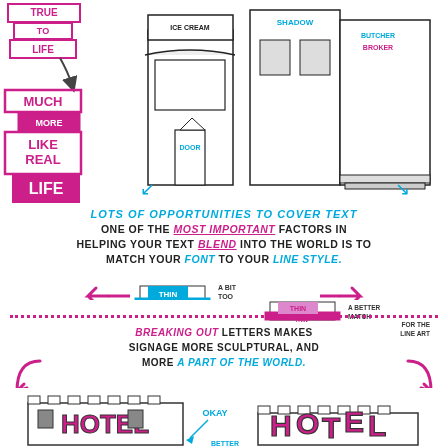[Figure (illustration): Detailed black and white line art illustration of crowded urban storefronts with signs (ICE CREAM, SHADOW, BUTCHER/BROKER, DOOR) and overlaid pink/magenta text boxes reading TRUE TO LIFE, MUCH MORE LIKE REAL LIFE with arrows pointing to the illustration]
LOTS OF OPPORTUNITIES TO COVER TEXT
One of the MOST IMPORTANT factors in helping your text BLEND into the world is to match your FONT to your LINE STYLE.
[Figure (illustration): Two small building illustrations side by side. Left: blue building with THIN text labels on awning, arrows pointing left labeled A BIT TOO FINE AND CLEAN. Right: pink/magenta building with THIN text on awning, arrows pointing right labeled A BETTER MATCH FOR THE LINEART]
BREAKING OUT letters makes signage more sculptural, and more A PART OF THE WORLD.
[Figure (illustration): Two HOTEL building illustrations. Left building shows flat text on facade labeled OKAY. Right building shows broken-out sculptural HOTEL letters. Arrow labeled BETTER points between them.]